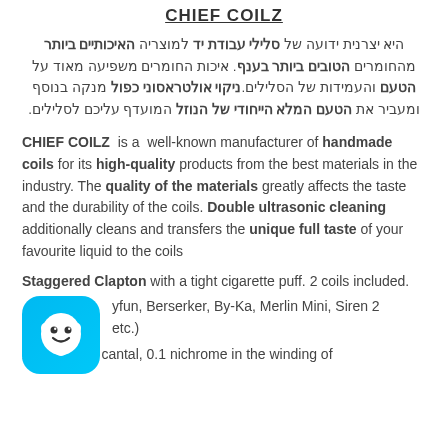CHIEF COILZ
היא יצרנית ידועה של סלילי עבודת יד למוצריה האיכותיים ביותר מהחומרים הטובים ביותר בענף. איכות החומרים משפיעה מאוד על הטעם והעמידות של הסלילים.ניקוי אולטראסוני כפול מנקה בנוסף ומעביר את הטעם המלא הייחודי של הנוזל המועדף עליכם לסלילים.
CHIEF COILZ is a well-known manufacturer of handmade coils for its high-quality products from the best materials in the industry. The quality of the materials greatly affects the taste and the durability of the coils. Double ultrasonic cleaning additionally cleans and transfers the unique full taste of your favourite liquid to the coils
Staggered Clapton with a tight cigarette puff. 2 coils included.
[Figure (logo): Waze app icon - blue rounded square with white smiley ghost face logo]
yfun, Berserker, By-Ka, Merlin Mini, Siren 2 etc.)
2 veins 0.25 cantal, 0.1 nichrome in the winding of